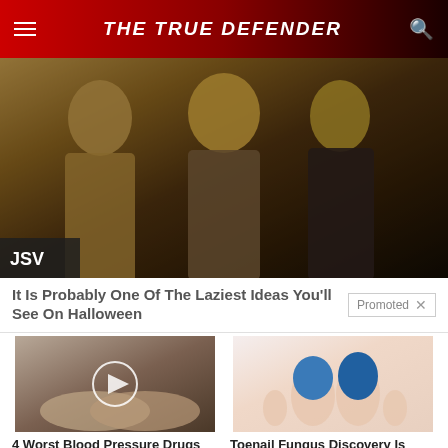THE TRUE DEFENDER
[Figure (photo): Three men in suits wearing ornate golden masks, standing together in a dimly lit scene]
It Is Probably One Of The Laziest Ideas You'll See On Halloween
Promoted
[Figure (photo): Close-up of two hands on a dark blue background with a white play button circle overlay]
4 Worst Blood Pressure Drugs (Avoid At All Costs)
5,927
[Figure (photo): Feet with blue bandages or tape wrapped around the big toes on a white background]
Toenail Fungus Discovery Is Leaving Doctors Speechless (Try This Tonight)
3,182